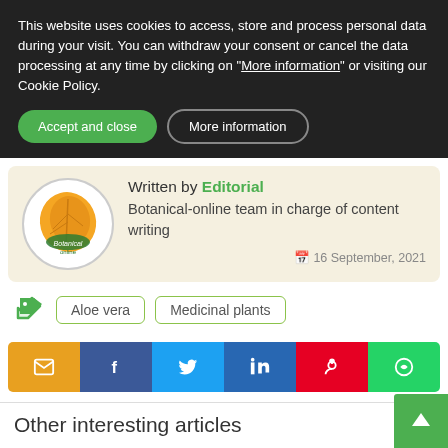This website uses cookies to access, store and process personal data during your visit. You can withdraw your consent or cancel the data processing at any time by clicking on "More information" or visiting our Cookie Policy.
Accept and close
More information
Written by Editorial
Botanical-online team in charge of content writing
16 September, 2021
Aloe vera   Medicinal plants
[Figure (logo): Botanical-online site logo with orange leaf and green text]
Other interesting articles